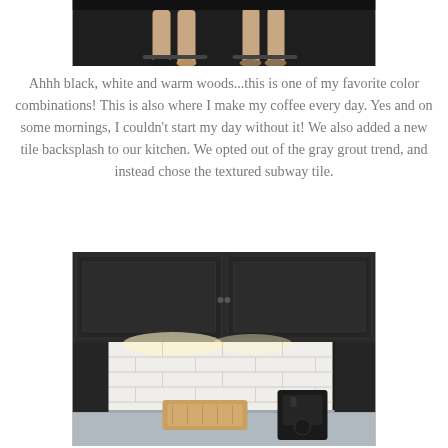[Figure (photo): Cropped photo showing two people's legs/feet sitting on bar stools, dark background]
Ahhh black, white and warm woods...this is one of my favorite color combinations!  This is also where I make my coffee every day.  Yes and on some mornings, I couldn't start my day without it!  We also added a new tile backsplash to our kitchen.  We opted out of the gray grout trend, and instead chose the textured subway tile.
[Figure (photo): Kitchen photo showing dark cabinets, white textured subway tile backsplash with under-cabinet lighting, a wood cutting board, and a coffee maker on the counter]